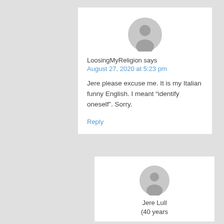[Figure (illustration): Generic user avatar icon - gray circle with person silhouette]
LoosingMyReligion says
August 27, 2020 at 5:23 pm
Jere please excuse me. It is my Italian funny English. I meant “identify oneself”. Sorry.
Reply
[Figure (illustration): Generic user avatar icon - gray circle with person silhouette]
Jere Lull (40 years